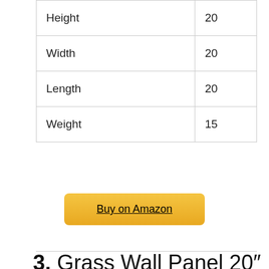| Height | 20 |
| Width | 20 |
| Length | 20 |
| Weight | 15 |
Buy on Amazon
3. Grass Wall Panel 20″ x 20″ Pack of 12 Boxwood Hedge Wall Panels Grass